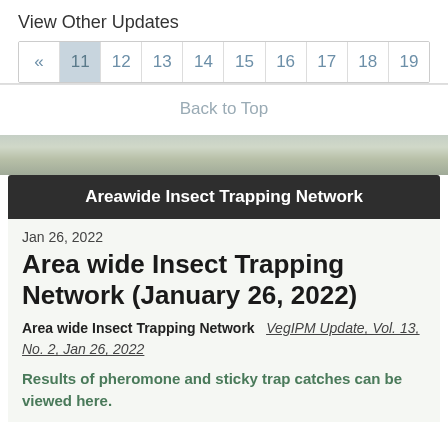View Other Updates
| « | 11 | 12 | 13 | 14 | 15 | 16 | 17 | 18 | 19 |
| --- | --- | --- | --- | --- | --- | --- | --- | --- | --- |
Back to Top
Areawide Insect Trapping Network
Jan 26, 2022
Area wide Insect Trapping Network (January 26, 2022)
Area wide Insect Trapping Network   VegIPM Update, Vol. 13, No. 2, Jan 26, 2022
Results of pheromone and sticky trap catches can be viewed here.